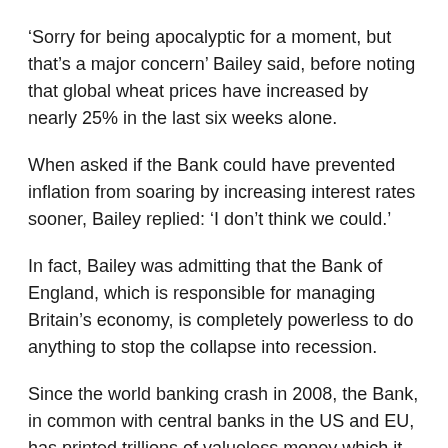‘Sorry for being apocalyptic for a moment, but that’s a major concern’ Bailey said, before noting that global wheat prices have increased by nearly 25% in the last six weeks alone.
When asked if the Bank could have prevented inflation from soaring by increasing interest rates sooner, Bailey replied: ‘I don’t think we could.’
In fact, Bailey was admitting that the Bank of England, which is responsible for managing Britain’s economy, is completely powerless to do anything to stop the collapse into recession.
Since the world banking crash in 2008, the Bank, in common with central banks in the US and EU, has printed trillions of valueless money which it handed to the banks to stop them from going bankrupt.